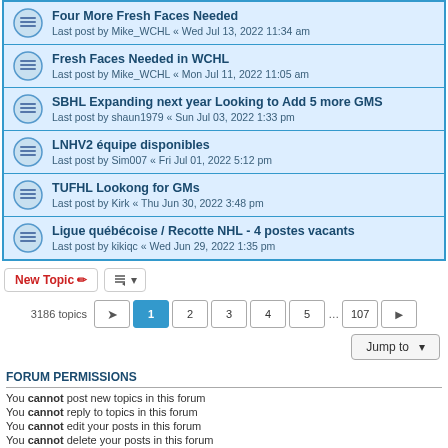Four More Fresh Faces Needed
Last post by Mike_WCHL « Wed Jul 13, 2022 11:34 am
Fresh Faces Needed in WCHL
Last post by Mike_WCHL « Mon Jul 11, 2022 11:05 am
SBHL Expanding next year Looking to Add 5 more GMS
Last post by shaun1979 « Sun Jul 03, 2022 1:33 pm
LNHV2 équipe disponibles
Last post by Sim007 « Fri Jul 01, 2022 5:12 pm
TUFHL Lookong for GMs
Last post by Kirk « Thu Jun 30, 2022 3:48 pm
Ligue québécoise / Recotte NHL - 4 postes vacants
Last post by kikiqc « Wed Jun 29, 2022 1:35 pm
3186 topics   1 2 3 4 5 ... 107
Jump to
FORUM PERMISSIONS
You cannot post new topics in this forum
You cannot reply to topics in this forum
You cannot edit your posts in this forum
You cannot delete your posts in this forum